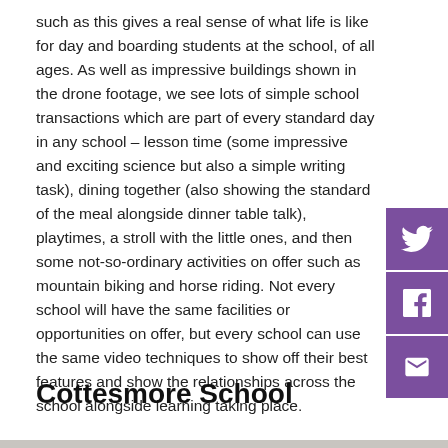such as this gives a real sense of what life is like for day and boarding students at the school, of all ages. As well as impressive buildings shown in the drone footage, we see lots of simple school transactions which are part of every standard day in any school – lesson time (some impressive and exciting science but also a simple writing task), dining together (also showing the standard of the meal alongside dinner table talk), playtimes, a stroll with the little ones, and then some not-so-ordinary activities on offer such as mountain biking and horse riding. Not every school will have the same facilities or opportunities on offer, but every school can use the same video techniques to show off their best features and show the relationships across the school alongside learning taking place.
Cottesmore School